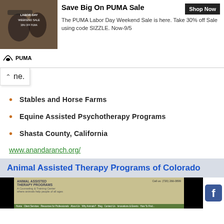[Figure (screenshot): PUMA Labor Day Weekend Sale advertisement banner with product image and Shop Now button]
ne.
Stables and Horse Farms
Equine Assisted Psychotherapy Programs
Shasta County, California
www.anandaranch.org/
Animal Assisted Therapy Programs of Colorado
[Figure (screenshot): Animal Assisted Therapy Programs website screenshot with Facebook icon]